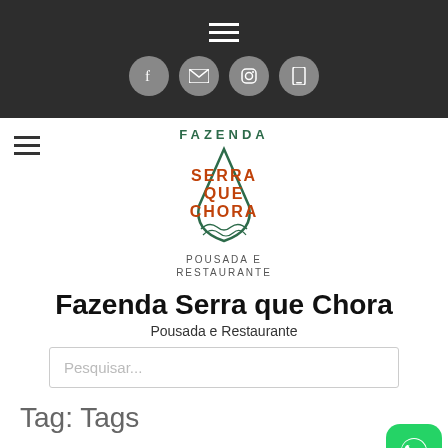[Figure (screenshot): Dark top navigation bar with hamburger menu icon (three white lines) centered at top, and four social media icon circles below: Facebook, Email, Instagram, Phone]
[Figure (logo): Fazenda Serra que Chora logo - teardrop/mountain shape with text FAZENDA at top, SERRA QUE CHORA in orange in middle, mountain illustration, POUSADA E RESTAURANTE at bottom]
Fazenda Serra que Chora
Pousada e Restaurante
Pesquisar...
Tag: Tags